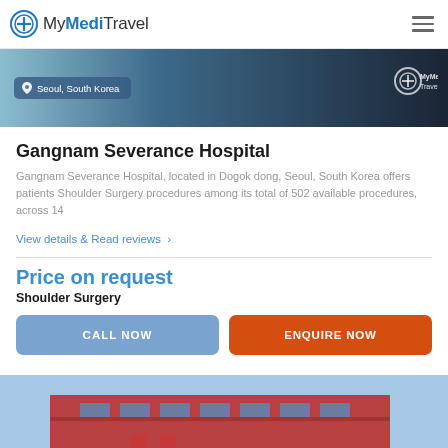MyMediTravel
[Figure (photo): Hero banner image showing dark medical/travel themed background with location badge 'Seoul, South Korea' and MyMediTravel brand logo on right]
Gangnam Severance Hospital
Gangnam Severance Hospital, located in Dogok dong, Seoul, South Korea offers patients Shoulder Surgery procedures among its total of 502 available procedures, across 14
View details & Read reviews >
Price on request
Shoulder Surgery
CALL NOW
ENQUIRE NOW
[Figure (photo): Partial view of a hospital building exterior with red brick and blue sky]